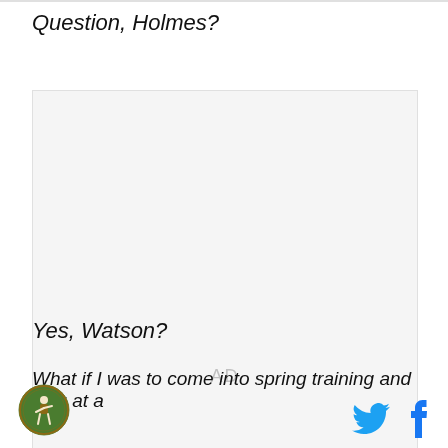Question, Holmes?
[Figure (other): Advertisement placeholder box with 'AD' text in center]
Yes, Watson?
What if I was to come into spring training and slug at a
[Figure (logo): Circular green logo with baseball player illustration]
[Figure (other): Twitter bird icon (blue) and Facebook f icon (blue) social media buttons]